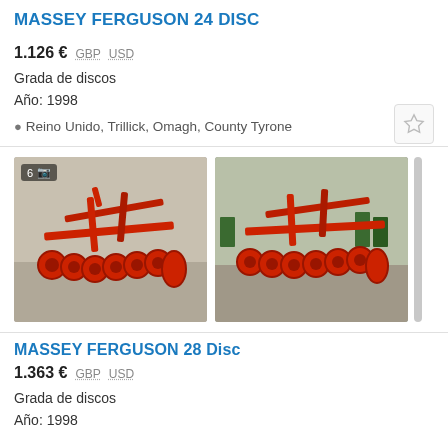MASSEY FERGUSON 24 DISC
1.126 € GBP USD
Grada de discos
Año: 1998
Reino Unido, Trillick, Omagh, County Tyrone
[Figure (photo): Red Massey Ferguson 24 disc harrow on concrete yard, two photos side by side. Badge showing 6 photos.]
MASSEY FERGUSON 28 Disc
1.363 € GBP USD
Grada de discos